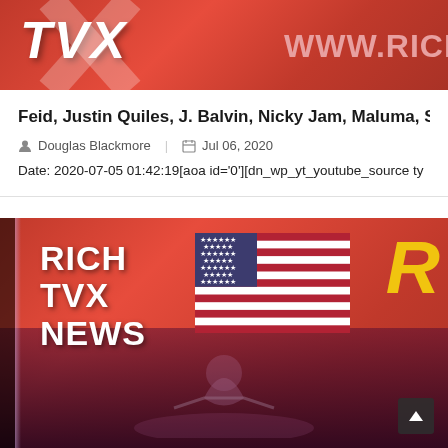[Figure (photo): Rich TVX News logo banner with red background, stylized TVX text in white, and www.rich... URL text on the right]
Feid, Justin Quiles, J. Balvin, Nicky Jam, Maluma, Sec...
Douglas Blackmore | Jul 06, 2020
Date: 2020-07-05 01:42:19[aoa id='0'][dn_wp_yt_youtube_source ty...
[Figure (photo): Rich TVX News studio broadcast image with red background, RICH TVX NEWS text in white bold, American flag, yellow R letter, dark bottom area with abstract figure silhouette and scroll-to-top button]